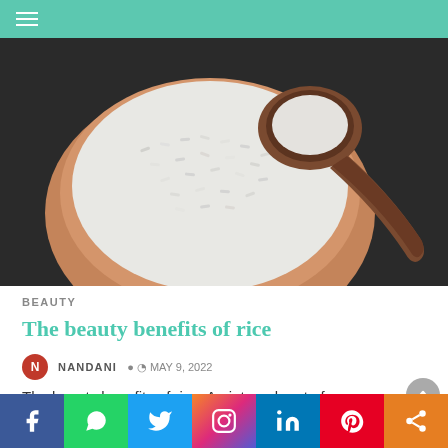Navigation menu
[Figure (photo): Overhead view of white rice in a terracotta bowl with a wooden spoon, on a dark background]
BEAUTY
The beauty benefits of rice
NANDANI  MAY 9, 2022
The beauty benefits of rice. An integral part of